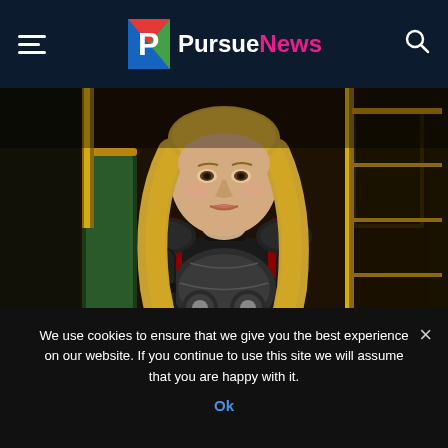PursueNews
[Figure (photo): A woman dressed in Thor armor (silver breastplate with red cape accents and black shoulder guards) with long blonde wavy hair, seated on a throne-like chair with green and gold decorative elements and dark metallic paneling in the background.]
We use cookies to ensure that we give you the best experience on our website. If you continue to use this site we will assume that you are happy with it.
Ok